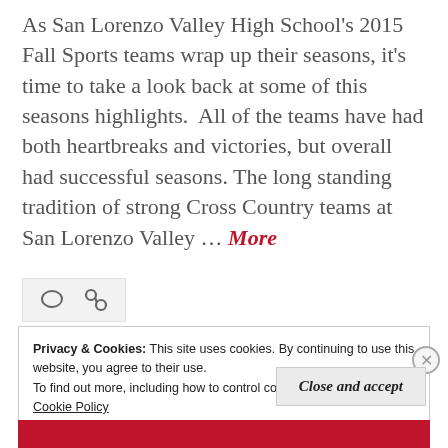As San Lorenzo Valley High School's 2015 Fall Sports teams wrap up their seasons, it's time to take a look back at some of this seasons highlights.  All of the teams have had both heartbreaks and victories, but overall had successful seasons. The long standing tradition of strong Cross Country teams at San Lorenzo Valley … More
[Figure (other): Icon bar with comment bubble icon and link icon on a light grey background]
Privacy & Cookies: This site uses cookies. By continuing to use this website, you agree to their use. To find out more, including how to control cookies, see here: Cookie Policy
Close and accept